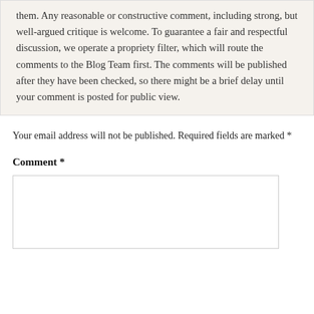them. Any reasonable or constructive comment, including strong, but well-argued critique is welcome. To guarantee a fair and respectful discussion, we operate a propriety filter, which will route the comments to the Blog Team first. The comments will be published after they have been checked, so there might be a brief delay until your comment is posted for public view.
Your email address will not be published. Required fields are marked *
Comment *